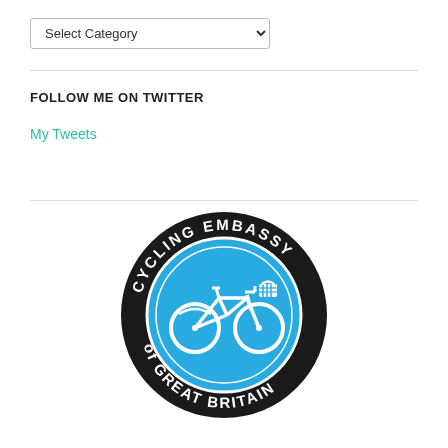Select Category
FOLLOW ME ON TWITTER
My Tweets
[Figure (logo): Cycling Embassy of Great Britain circular logo — black outer ring with white text 'CYCLING EMBASSY of GREAT BRITAIN', blue inner circle with white bicycle icon]